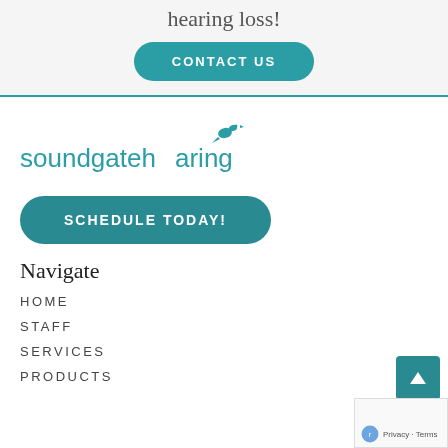hearing loss!
CONTACT US
[Figure (logo): Sound Gate Hearing logo with teal bird and text 'soundgatehearing']
SCHEDULE TODAY!
Navigate
HOME
STAFF
SERVICES
PRODUCTS